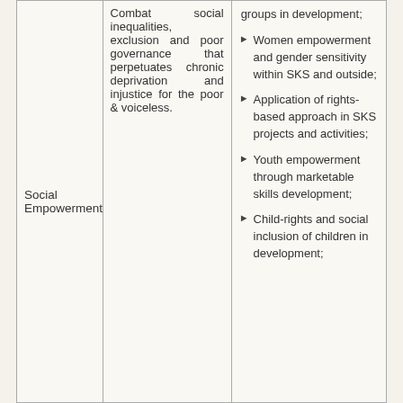|  |  |  |
| --- | --- | --- |
| Social Empowerment | Combat social inequalities, exclusion and poor governance that perpetuates chronic deprivation and injustice for the poor & voiceless. | groups in development;
▶ Women empowerment and gender sensitivity within SKS and outside;
▶ Application of rights-based approach in SKS projects and activities;
▶ Youth empowerment through marketable skills development;
▶ Child-rights and social inclusion of children in development; |